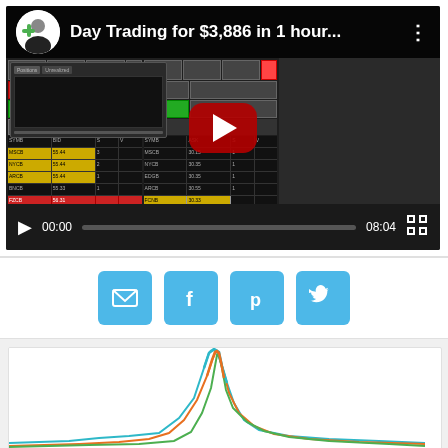[Figure (screenshot): YouTube video thumbnail showing day trading software interface. Title reads 'Day Trading for $3,886 in 1 hour...' with a bald man in channel icon with green plus sign. Video timestamp shows 00:00 / 08:04. Red play button overlay visible.]
[Figure (other): Social share buttons: email (envelope), Facebook (f), Pinterest (p), Twitter (bird) — all cyan/light blue rounded square buttons]
[Figure (line-chart): Partial chart visible at bottom of page showing multiple colored lines (teal/cyan, orange, green) with sharp upward spikes converging toward center]